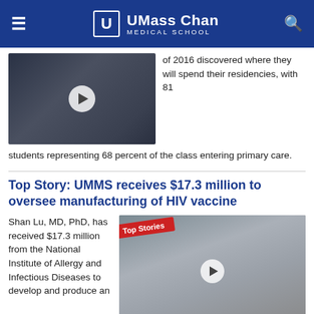UMass Chan Medical School
[Figure (photo): Video thumbnail showing students in a group setting with a play button overlay]
of 2016 discovered where they will spend their residencies, with 81 students representing 68 percent of the class entering primary care.
Top Story: UMMS receives $17.3 million to oversee manufacturing of HIV vaccine
Shan Lu, MD, PhD, has received $17.3 million from the National Institute of Allergy and Infectious Diseases to develop and produce an
[Figure (photo): Video thumbnail showing a smiling man in a suit (Shan Lu, MD, PhD) in a laboratory setting, with a red Top Stories ribbon and play button overlay]